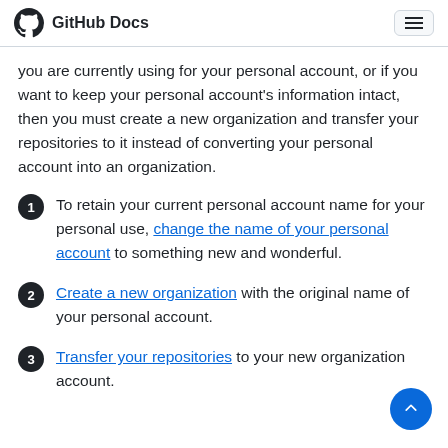GitHub Docs
you are currently using for your personal account, or if you want to keep your personal account's information intact, then you must create a new organization and transfer your repositories to it instead of converting your personal account into an organization.
To retain your current personal account name for your personal use, change the name of your personal account to something new and wonderful.
Create a new organization with the original name of your personal account.
Transfer your repositories to your new organization account.